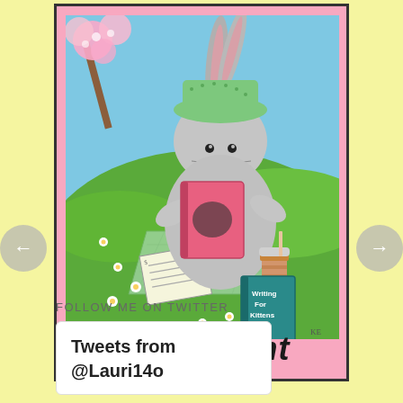[Figure (illustration): Cartoon illustration of a gray bunny rabbit wearing a green hat, sitting on a picnic blanket outdoors under a cherry blossom tree. The bunny is holding a pink book/tablet and writing. Nearby are scattered papers with text, a coffee cup, and a teal book labeled 'Writing For Kittens'. Small flowers decorate the green grass. The scene is framed with a pink border. Below the illustration in bold italic text reads 'Participant'.]
FOLLOW ME ON TWITTER
Tweets from @Lauri14o